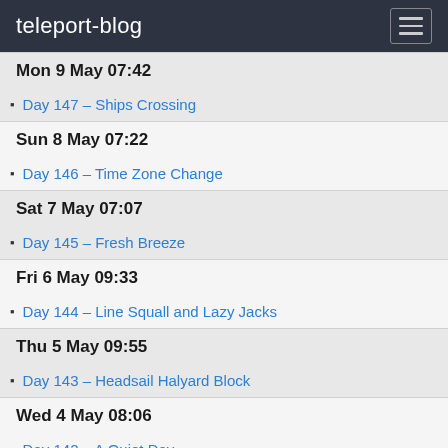teleport-blog
Mon 9 May 07:42
Day 147 – Ships Crossing
Sun 8 May 07:22
Day 146 – Time Zone Change
Sat 7 May 07:07
Day 145 – Fresh Breeze
Fri 6 May 09:33
Day 144 – Line Squall and Lazy Jacks
Thu 5 May 09:55
Day 143 – Headsail Halyard Block
Wed 4 May 08:06
Day 142 – A Quiet Day
Tue 3 May 08:37
Day 141 – Next Leg
Mon 2 May 08:47